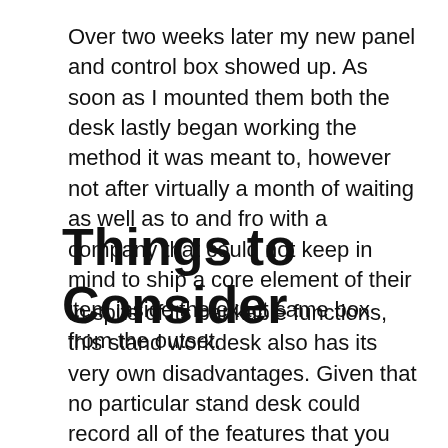Over two weeks later my new panel and control box showed up. As soon as I mounted them both the desk lastly began working the method it was meant to, however not after virtually a month of waiting as well as to and fro with a company that could not keep in mind to ship a core element of their item inside the exact same box from the outset.
Things to Consider
In spite of its bankable functions, this stand workdesk also has its very own disadvantages. Given that no particular stand desk could record all of the features that you might need, you may consider these in your decision-making.